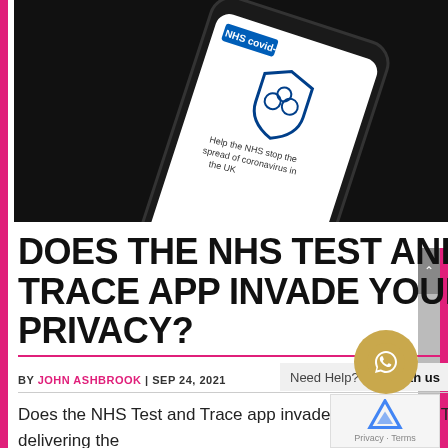[Figure (photo): A smartphone displaying the NHS COVID-19 Test and Trace app, showing a shield icon with people silhouettes and text 'Help the NHS stop the spread of coronavirus in the UK', against a dark background.]
DOES THE NHS TEST AND TRACE APP INVADE YOUR PRIVACY?
BY JOHN ASHBROOK | SEP 24, 2021
Does the NHS Test and Trace app invade your privacy? The road to delivering the